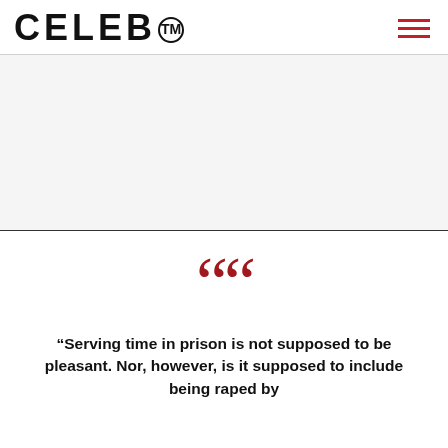CELEB™
[Figure (photo): Large image area placeholder (light gray background)]
“Serving time in prison is not supposed to be pleasant. Nor, however, is it supposed to include being raped by